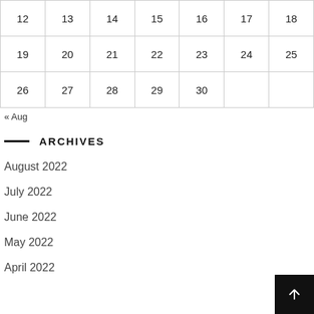| 12 | 13 | 14 | 15 | 16 | 17 | 18 |
| 19 | 20 | 21 | 22 | 23 | 24 | 25 |
| 26 | 27 | 28 | 29 | 30 |  |  |
« Aug
ARCHIVES
August 2022
July 2022
June 2022
May 2022
April 2022